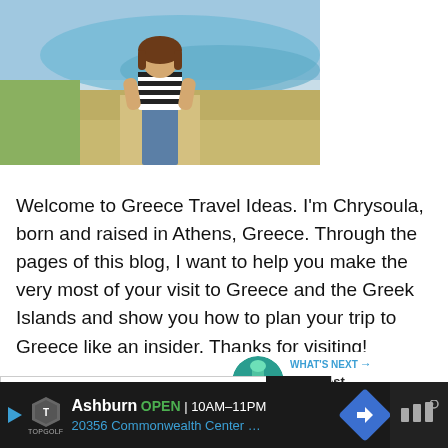[Figure (photo): Photo of a woman in a striped shirt and jeans standing on a coastal landscape with blue water in the background]
Welcome to Greece Travel Ideas. I'm Chrysoula, born and raised in Athens, Greece. Through the pages of this blog, I want to help you make the very most of your visit to Greece and the Greek Islands and show you how to plan your trip to Greece like an insider. Thanks for visiting!
[Figure (infographic): Social sidebar with heart/like button showing count of 6, and a share button]
[Figure (infographic): What's Next panel showing a thumbnail and text 'The Best Waterfalls in...']
[Figure (screenshot): Search bar with placeholder text 'Search ...' and a black search button with magnifying glass icon]
[Figure (infographic): Advertisement banner for Topgolf Ashburn showing OPEN 10AM-11PM, 20356 Commonwealth Center...]